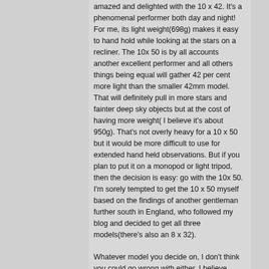amazed and delighted with the 10 x 42. It's a phenomenal performer both day and night! For me, its light weight(698g) makes it easy to hand hold while looking at the stars on a recliner. The 10x 50 is by all accounts another excellent performer and all others things being equal will gather 42 per cent more light than the smaller 42mm model. That will definitely pull in more stars and fainter deep sky objects but at the cost of having more weight( I believe it's about 950g). That's not overly heavy for a 10 x 50 but it would be more difficult to use for extended hand held observations. But if you plan to put it on a monopod or light tripod, then the decision is easy: go with the 10x 50. I'm sorely tempted to get the 10 x 50 myself based on the findings of another gentleman further south in England, who followed my blog and decided to get all three models(there's also an 8 x 32).
Whatever model you decide on, I don't think you could go wrong with either. I believe these are the